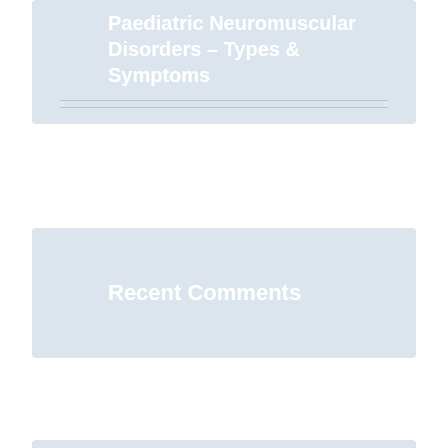Paediatric Neuromuscular Disorders – Types & Symptoms
Recent Comments
Archives
August 2022
June 2022